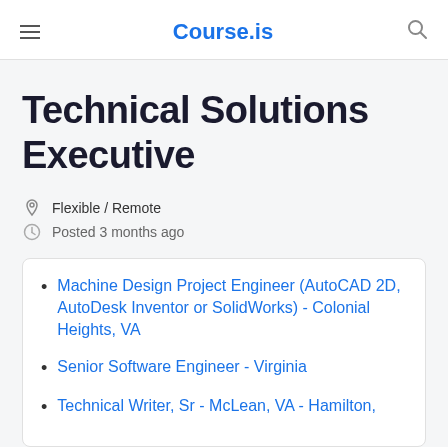Course.is
Technical Solutions Executive
Flexible / Remote
Posted 3 months ago
Machine Design Project Engineer (AutoCAD 2D, AutoDesk Inventor or SolidWorks) - Colonial Heights, VA
Senior Software Engineer - Virginia
Technical Writer, Sr - McLean, VA - Hamilton,